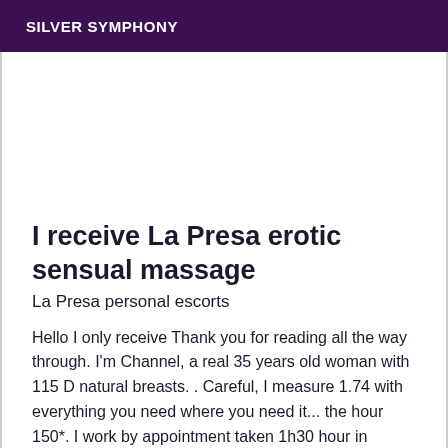SILVER SYMPHONY
I receive La Presa erotic sensual massage
La Presa personal escorts
Hello I only receive Thank you for reading all the way through. I'm Channel, a real 35 years old woman with 115 D natural breasts. . Careful, I measure 1.74 with everything you need where you need it... the hour 150*. I work by appointment taken 1h30 hour in advance. You